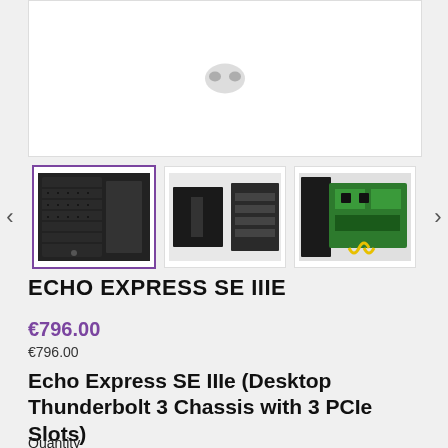[Figure (photo): Main product image area showing top portion of Echo Express SE IIIe device (partially visible at top of page)]
[Figure (photo): Thumbnail gallery with 3 product images: first (selected, purple border) shows dark chassis front view; second shows front and side panels; third shows internal PCIe card components with green board and yellow cables]
ECHO EXPRESS SE IIIE
€796.00
€796.00
Echo Express SE IIIe (Desktop Thunderbolt 3 Chassis with 3 PCIe Slots)
Quantity